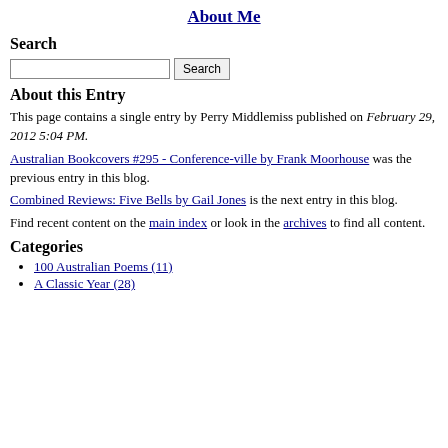About Me
Search
[search input and button]
About this Entry
This page contains a single entry by Perry Middlemiss published on February 29, 2012 5:04 PM.
Australian Bookcovers #295 - Conference-ville by Frank Moorhouse was the previous entry in this blog.
Combined Reviews: Five Bells by Gail Jones is the next entry in this blog.
Find recent content on the main index or look in the archives to find all content.
Categories
100 Australian Poems (11)
A Classic Year (28)